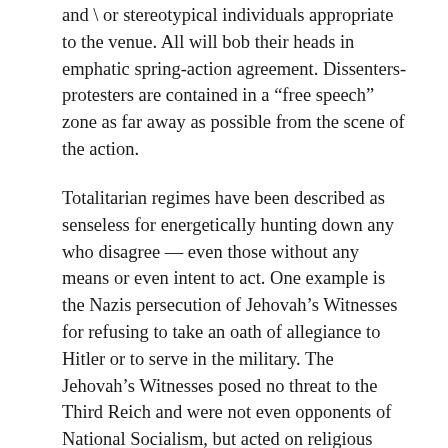and \ or stereotypical individuals appropriate to the venue. All will bob their heads in emphatic spring-action agreement. Dissenters-protesters are contained in a “free speech” zone as far away as possible from the scene of the action.
Totalitarian regimes have been described as senseless for energetically hunting down any who disagree — even those without any means or even intent to act. One example is the Nazis persecution of Jehovah’s Witnesses for refusing to take an oath of allegiance to Hitler or to serve in the military. The Jehovah’s Witnesses posed no threat to the Third Reich and were not even opponents of National Socialism, but acted on religious grounds. The Nazi’s suppression was immoral and pathological, but — if we think of the Asch experiment — it was rational . Any small crack of dissent can quickly widen and shatter the secon of propaganda